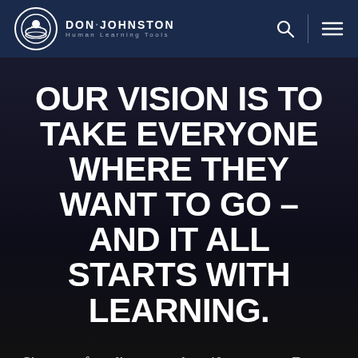DON·JOHNSTON Human Learning Tools
OUR VISION IS TO TAKE EVERYONE WHERE THEY WANT TO GO – AND IT ALL STARTS WITH LEARNING.
Since our founding more than 40 years ago, Don Johnston has helped over 32,000 schools make the impossible possible through technologies,